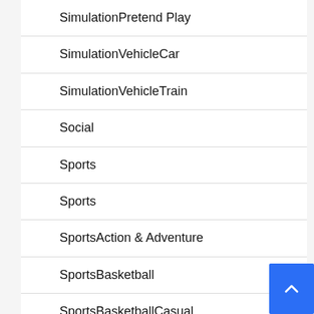SimulationPretend Play
SimulationVehicleCar
SimulationVehicleTrain
Social
Sports
Sports
SportsAction & Adventure
SportsBasketball
SportsBasketballCasual